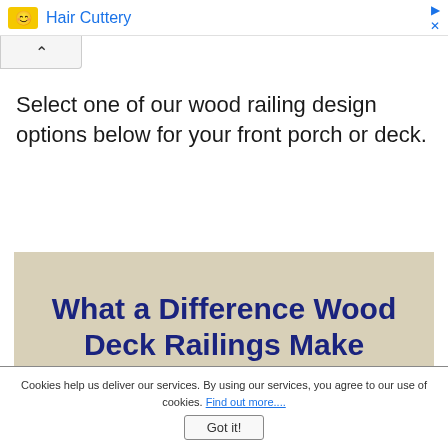Hair Cuttery
Select one of our wood railing design options below for your front porch or deck.
[Figure (other): Promotional banner with beige/tan background and dark navy bold text reading 'What a Difference Wood Deck Railings Make']
Cookies help us deliver our services. By using our services, you agree to our use of cookies. Find out more....
Got it!